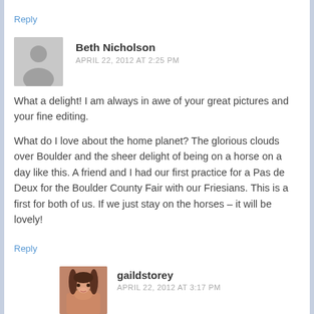Reply
[Figure (photo): Gray placeholder avatar with silhouette of a person]
Beth Nicholson
APRIL 22, 2012 AT 2:25 PM
What a delight! I am always in awe of your great pictures and your fine editing.
What do I love about the home planet? The glorious clouds over Boulder and the sheer delight of being on a horse on a day like this. A friend and I had our first practice for a Pas de Deux for the Boulder County Fair with our Friesians. This is a first for both of us. If we just stay on the horses – it will be lovely!
Reply
[Figure (photo): Photo of a woman with dark hair smiling]
gaildstorey
APRIL 22, 2012 AT 3:17 PM